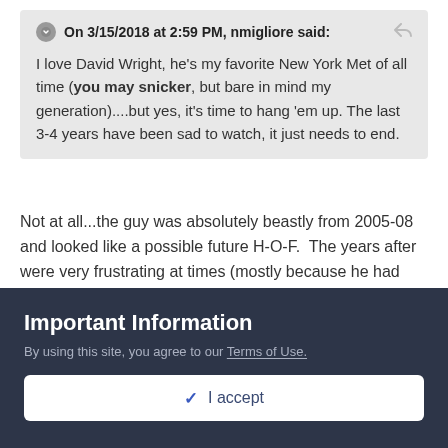On 3/15/2018 at 2:59 PM, nmigliore said: I love David Wright, he's my favorite New York Met of all time (you may snicker, but bare in mind my generation)....but yes, it's time to hang 'em up. The last 3-4 years have been sad to watch, it just needs to end.
Not at all...the guy was absolutely beastly from 2005-08 and looked like a possible future H-O-F. The years after were very frustrating at times (mostly because he had such a penchant for coming up small in the most notable moments), but overall his slash could've been a lot worse...from 2009-2013 he slashed .293/.375/.479, which even with the constant failures in big
Important Information
By using this site, you agree to our Terms of Use.
✓ I accept